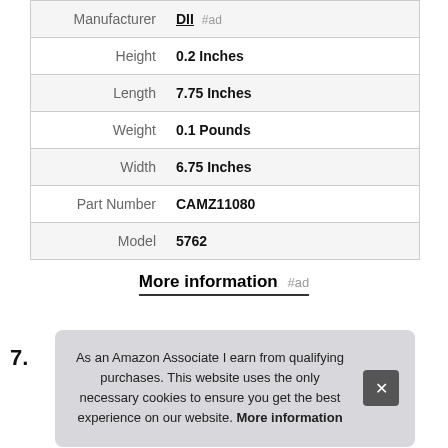| Attribute | Value |
| --- | --- |
| Manufacturer | DII #ad |
| Height | 0.2 Inches |
| Length | 7.75 Inches |
| Weight | 0.1 Pounds |
| Width | 6.75 Inches |
| Part Number | CAMZ11080 |
| Model | 5762 |
More information #ad
7.
As an Amazon Associate I earn from qualifying purchases. This website uses the only necessary cookies to ensure you get the best experience on our website. More information